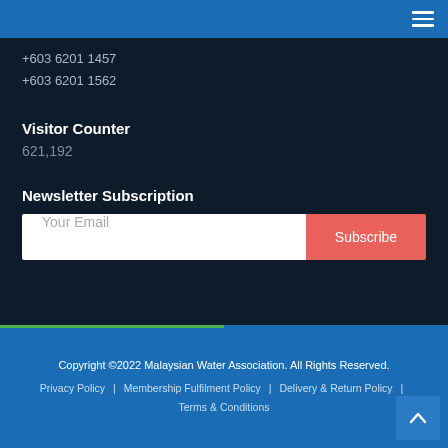+603 6201 1457
+603 6201 1562
Visitor Counter
621,192
Newsletter Subscription
Your Email | Subscribe
Copyright ©2022 Malaysian Water Association. All Rights Reserved. | Privacy Policy | Membership Fulfilment Policy | Delivery & Return Policy | Terms & Conditions